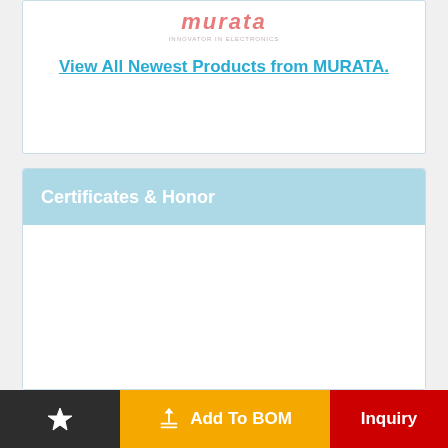[Figure (logo): Murata logo in italic red/pink text with tagline 'INNOVATOR IN ELECTRONICS' below]
View All Newest Products from MURATA.
Certificates & Honor
[Figure (other): Empty white content area for certificates]
Add To BOM  Inquiry